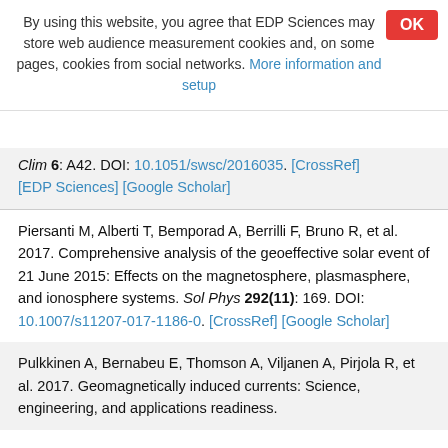By using this website, you agree that EDP Sciences may store web audience measurement cookies and, on some pages, cookies from social networks. More information and setup
Clim 6: A42. DOI: 10.1051/swsc/2016035. [CrossRef] [EDP Sciences] [Google Scholar]
Piersanti M, Alberti T, Bemporad A, Berrilli F, Bruno R, et al. 2017. Comprehensive analysis of the geoeffective solar event of 21 June 2015: Effects on the magnetosphere, plasmasphere, and ionosphere systems. Sol Phys 292(11): 169. DOI: 10.1007/s11207-017-1186-0. [CrossRef] [Google Scholar]
Pulkkinen A, Bernabeu E, Thomson A, Viljanen A, Pirjola R, et al. 2017. Geomagnetically induced currents: Science, engineering, and applications readiness.